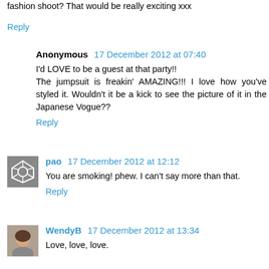fashion shoot? That would be really exciting xxx
Reply
Anonymous 17 December 2012 at 07:40
I'd LOVE to be a guest at that party!! The jumpsuit is freakin' AMAZING!!! I love how you've styled it. Wouldn't it be a kick to see the picture of it in the Japanese Vogue??
Reply
pao 17 December 2012 at 12:12
You are smoking! phew. I can't say more than that.
Reply
WendyB 17 December 2012 at 13:34
Love, love, love.